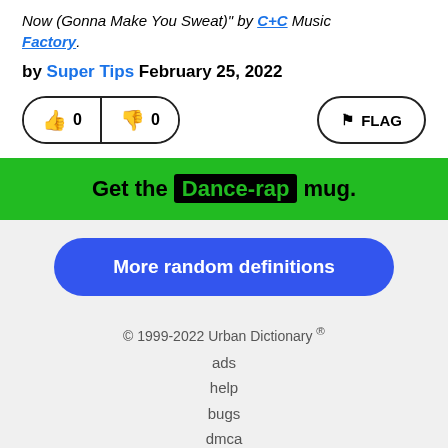Now (Gonna Make You Sweat)" by C+C Music Factory.
by Super Tips February 25, 2022
[Figure (other): Vote buttons (thumbs up 0, thumbs down 0) and a FLAG button]
Get the Dance-rap mug.
More random definitions
© 1999-2022 Urban Dictionary ® ads help bugs dmca